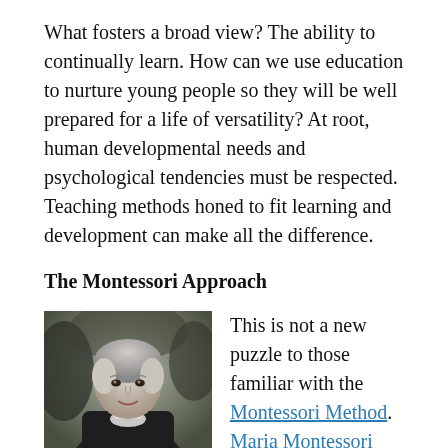What fosters a broad view? The ability to continually learn. How can we use education to nurture young people so they will be well prepared for a life of versatility? At root, human developmental needs and psychological tendencies must be respected. Teaching methods honed to fit learning and development can make all the difference.
The Montessori Approach
[Figure (photo): Black and white photograph of an elderly woman, presumably Maria Montessori, smiling, wearing dark clothing with a white collar/brooch, with a blurred outdoor background.]
This is not a new puzzle to those familiar with the Montessori Method. Maria Montessori used almost 50 years of